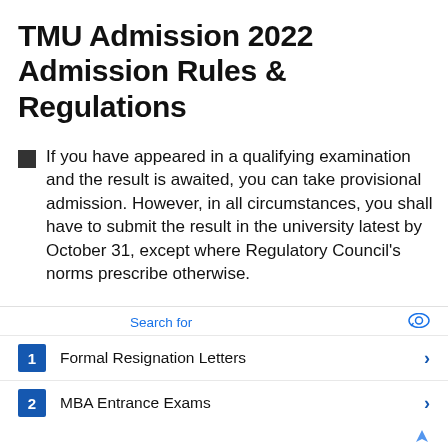TMU Admission 2022 Admission Rules & Regulations
If you have appeared in a qualifying examination and the result is awaited, you can take provisional admission. However, in all circumstances, you shall have to submit the result in the university latest by October 31, except where Regulatory Council's norms prescribe otherwise.
Attach self-certified copies of your mark sheets/testimonials with the application form. At this stage, do not send any original copies of
Search for
1  Formal Resignation Letters
2  MBA Entrance Exams